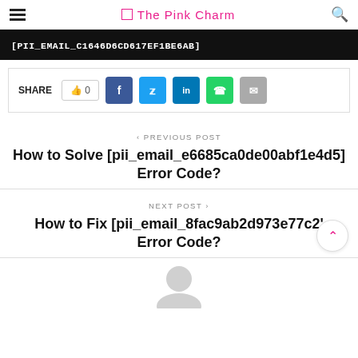The Pink Charm
[PII_EMAIL_C1646D6CD617EF1BE6AB]
SHARE 0
< PREVIOUS POST
How to Solve [pii_email_e6685ca0de00abf1e4d5] Error Code?
NEXT POST >
How to Fix [pii_email_8fac9ab2d973e77c2'] Error Code?
[Figure (illustration): User avatar / profile silhouette icon at bottom of page]